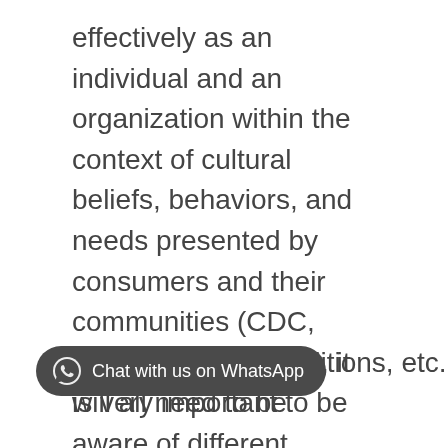effectively as an individual and an organization within the context of cultural beliefs, behaviors, and needs presented by consumers and their communities (CDC, 2015). In healthcare, it is very important to be aware of different culture backgrounds. It helps with not only being able to communicate effectively but also knowing what diseases, sickness, etc. that the person is at greatest risk for. For example, in the treatment of depression, compared with white Americans, black and Latino patients are actually less likely to receive treatment (Ball et al., 2019).The patient I was given is a 14 year old biracial male living with his grandmother in a high-density public housing complex. For the purpose of obtain a health history with this particular patient it is important to consider [partially obscured]. The patients age, sex, ethnicity, living conditions, etc. will all need to be